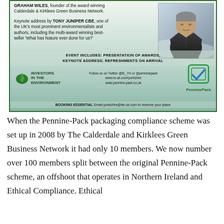[Figure (infographic): Advertisement for an awards event featuring Calderdale & Kirklees Green Business Network. Shows text about Graham Wiles (founder) and keynote by Tony Juniper CBE, a photo of a man in a suit, logos for Investors in the Environment and PenninePack, social media links, and booking information. Cloud/sky background.]
When the Pennine-Pack packaging compliance scheme was set up in 2008 by The Calderdale and Kirklees Green Business Network it had only 10 members. We now number over 100 members split between the original Pennine-Pack scheme, an offshoot that operates in Northern Ireland and Ethical Compliance. Ethical Compliance was launched in 2014...